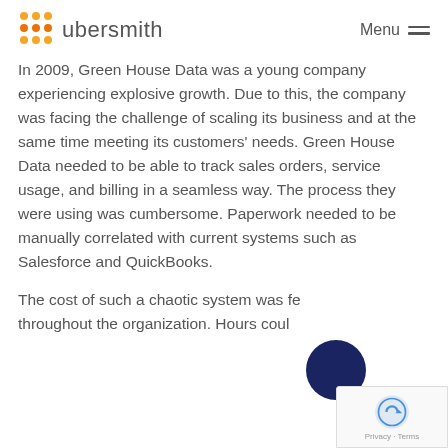ubersmith  Menu
In 2009, Green House Data was a young company experiencing explosive growth. Due to this, the company was facing the challenge of scaling its business and at the same time meeting its customers' needs. Green House Data needed to be able to track sales orders, service usage, and billing in a seamless way. The process they were using was cumbersome. Paperwork needed to be manually correlated with current systems such as Salesforce and QuickBooks.
The cost of such a chaotic system was felt throughout the organization. Hours could